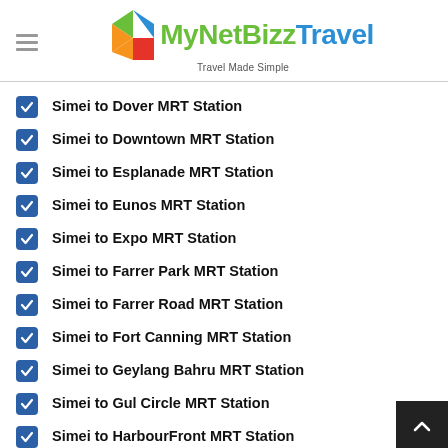[Figure (logo): MyNetBizzTravel logo with colorful geometric icon and tagline 'Travel Made Simple']
Simei to Dover MRT Station
Simei to Downtown MRT Station
Simei to Esplanade MRT Station
Simei to Eunos MRT Station
Simei to Expo MRT Station
Simei to Farrer Park MRT Station
Simei to Farrer Road MRT Station
Simei to Fort Canning MRT Station
Simei to Geylang Bahru MRT Station
Simei to Gul Circle MRT Station
Simei to HarbourFront MRT Station